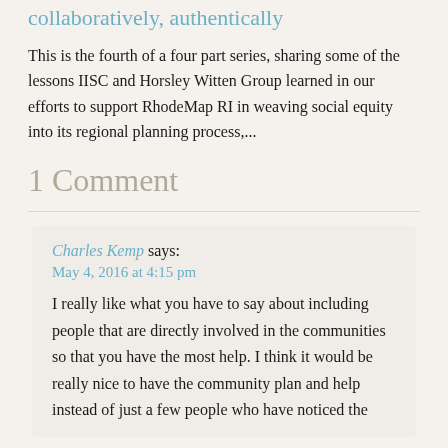collaboratively, authentically
This is the fourth of a four part series, sharing some of the lessons IISC and Horsley Witten Group learned in our efforts to support RhodeMap RI in weaving social equity into its regional planning process,...
1 Comment
Charles Kemp says:
May 4, 2016 at 4:15 pm
I really like what you have to say about including people that are directly involved in the communities so that you have the most help. I think it would be really nice to have the community plan and help instead of just a few people who have noticed the